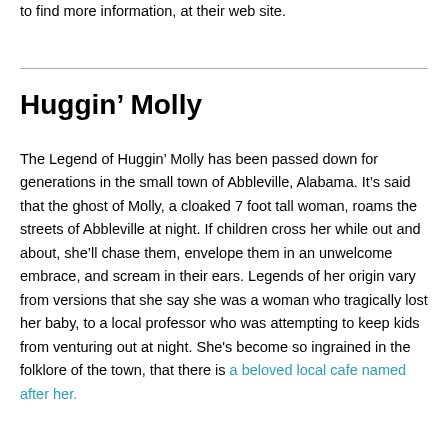to find more information, at their web site.
Huggin’ Molly
The Legend of Huggin’ Molly has been passed down for generations in the small town of Abbleville, Alabama. It’s said that the ghost of Molly, a cloaked 7 foot tall woman, roams the streets of Abbleville at night. If children cross her while out and about, she’ll chase them, envelope them in an unwelcome embrace, and scream in their ears. Legends of her origin vary from versions that she say she was a woman who tragically lost her baby, to a local professor who was attempting to keep kids from venturing out at night. She’s become so ingrained in the folklore of the town, that there is a beloved local cafe named after her.